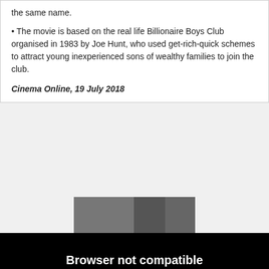the same name.
The movie is based on the real life Billionaire Boys Club organised in 1983 by Joe Hunt, who used get-rich-quick schemes to attract young inexperienced sons of wealthy families to join the club.
Cinema Online, 19 July 2018
[Figure (photo): A partial image/screenshot of a movie scene, partially obscured]
Browser not compatible
You may need to update your browser